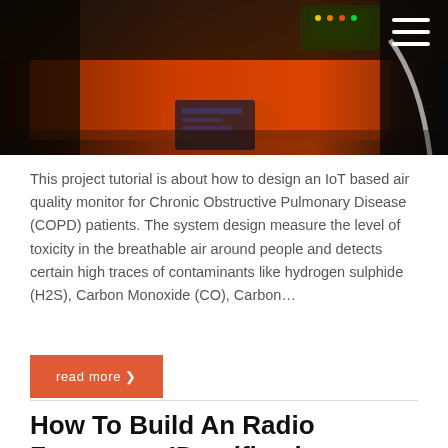[Figure (photo): Dark background photo showing electronic components and circuit boards with orange/red elements, a hand holding something, and cables on a dark surface.]
This project tutorial is about how to design an IoT based air quality monitor for Chronic Obstructive Pulmonary Disease (COPD) patients. The system design measure the level of toxicity in the breathable air around people and detects certain high traces of contaminants like hydrogen sulphide (H2S), Carbon Monoxide (CO), Carbon…
read more ❯
How To Build An Radio Frequency IDentification (RFID) Based Bus